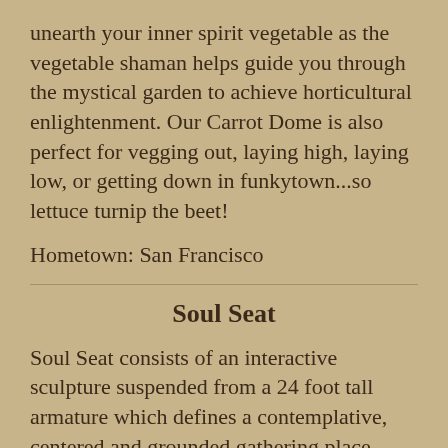unearth your inner spirit vegetable as the vegetable shaman helps guide you through the mystical garden to achieve horticultural enlightenment. Our Carrot Dome is also perfect for vegging out, laying high, laying low, or getting down in funkytown...so lettuce turnip the beet!
Hometown: San Francisco
Soul Seat
Soul Seat consists of an interactive sculpture suspended from a 24 foot tall armature which defines a contemplative, centered and grounded gathering place. Three fins of graceful curves, representing Body, Mind and Spirit rise from the desert like waves; they meet at their apex in a delicate point, the point at which the ego dissolves into contemplation.